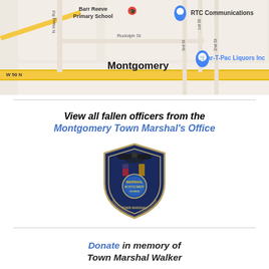[Figure (map): Google Maps screenshot showing Montgomery, Indiana area with Barr Reeve Primary School, RTC Communications, Par-T-Pac Liquors Inc, street labels including Rudolph St, N Haag Rd, W 50 N, 1st St, 2nd St, 3rd St]
View all fallen officers from the Montgomery Town Marshal's Office
[Figure (logo): Badge/shield logo of the Montgomery Town Marshal's Office, Indiana - blue shield with eagle and state seal]
Donate in memory of Town Marshal Walker